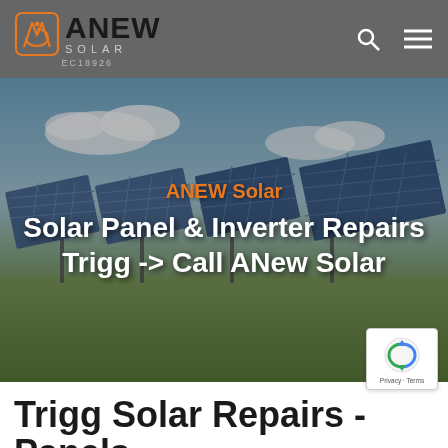[Figure (logo): ANEW Solar logo with orange geometric icon, bold ANEW text, SOLAR subtitle, and EC18926 license number, on gray navigation bar]
[Figure (photo): Large solar panel array in a field under a partly cloudy sky, with overlaid text: orange 'ANEW Solar' and white 'Solar Panel & Inverter Repairs Trigg -> Call ANew Solar']
ANEW Solar
Solar Panel & Inverter Repairs Trigg -> Call ANew Solar
Trigg Solar Repairs - Panels,